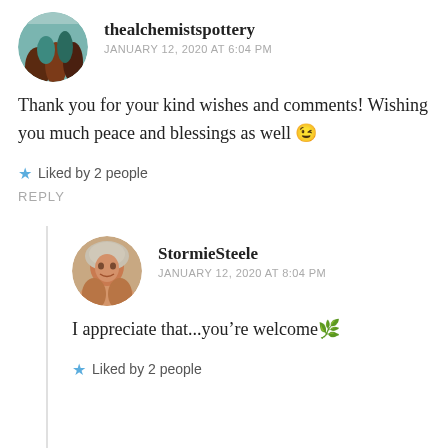[Figure (photo): Circular avatar of pottery/vases with dark teal and brown colors]
thealchemistspottery
JANUARY 12, 2020 AT 6:04 PM
Thank you for your kind wishes and comments! Wishing you much peace and blessings as well 😉
★ Liked by 2 people
REPLY
[Figure (photo): Circular avatar of a smiling woman with grey and brown hair]
StormieSteele
JANUARY 12, 2020 AT 8:04 PM
I appreciate that...you're welcome 🌿
★ Liked by 2 people